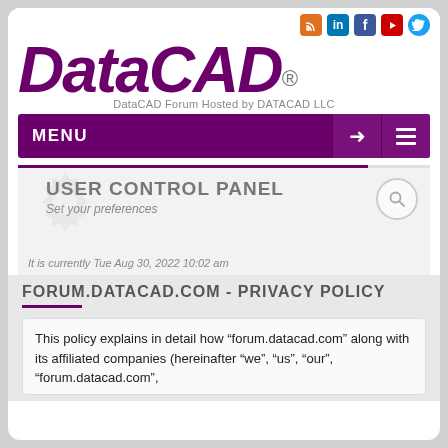[Figure (logo): DataCAD logo with purple stylized text and social media icons (RSS, LinkedIn, Facebook, YouTube, Twitter). Subtitle: DataCAD Forum Hosted by DATACAD LLC]
MENU
USER CONTROL PANEL
Set your preferences
It is currently Tue Aug 30, 2022 10:02 am
FORUM.DATACAD.COM - PRIVACY POLICY
This policy explains in detail how “forum.datacad.com” along with its affiliated companies (hereinafter “we”, “us”, “our”, “forum.datacad.com”,